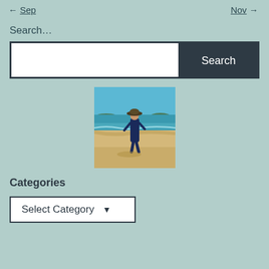← Sep    Nov →
Search…
[Figure (screenshot): Search input field with white text box on the left and dark navy Search button on the right]
[Figure (photo): A person wearing a wide-brimmed hat and dark blue outfit walking barefoot on a sandy beach with turquoise ocean water and blue sky in the background]
Categories
[Figure (screenshot): A dropdown selector widget with white background, dark border, showing 'Select Category' text with a downward arrow]